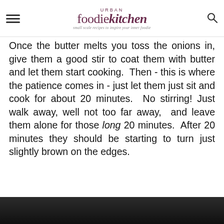URBAN foodiekitchen — small scale recipes to inspire your inner foodie
Once the butter melts you toss the onions in, give them a good stir to coat them with butter and let them start cooking.  Then - this is where the patience comes in - just let them just sit and cook for about 20 minutes.  No stirring! Just walk away, well not too far away,  and leave them alone for those long 20 minutes.  After 20 minutes they should be starting to turn just slightly brown on the edges.
[Figure (photo): Dark photograph of food, bottom strip of page]